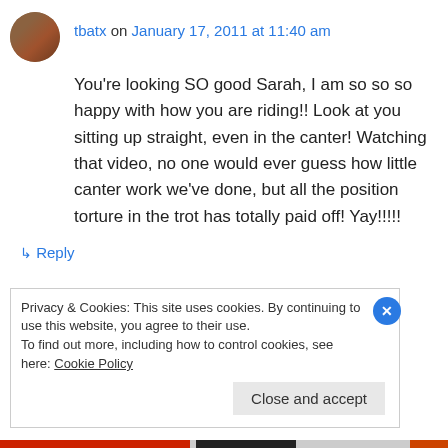tbatx on January 17, 2011 at 11:40 am
You're looking SO good Sarah, I am so so so happy with how you are riding!! Look at you sitting up straight, even in the canter! Watching that video, no one would ever guess how little canter work we've done, but all the position torture in the trot has totally paid off! Yay!!!!!
↳ Reply
Privacy & Cookies: This site uses cookies. By continuing to use this website, you agree to their use.
To find out more, including how to control cookies, see here: Cookie Policy